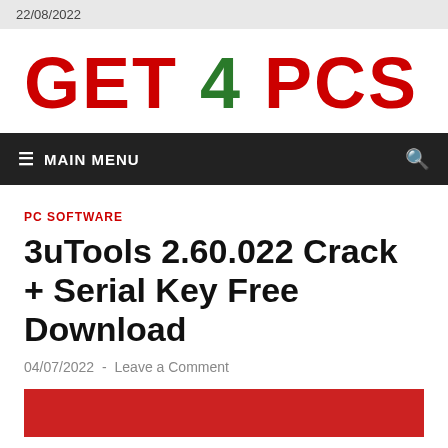22/08/2022
[Figure (logo): GET 4 PCS logo in large bold text, 'GET' and 'PCS' in red, '4' in green]
≡ MAIN MENU
PC SOFTWARE
3uTools 2.60.022 Crack + Serial Key Free Download
04/07/2022 - Leave a Comment
[Figure (other): Red download button at bottom of page]